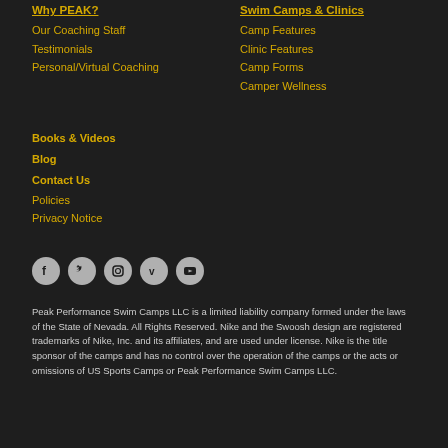Why PEAK?
Our Coaching Staff
Testimonials
Personal/Virtual Coaching
Swim Camps & Clinics
Camp Features
Clinic Features
Camp Forms
Camper Wellness
Books & Videos
Blog
Contact Us
Policies
Privacy Notice
[Figure (infographic): Row of 5 social media icon buttons (Facebook, Twitter, Instagram, Vimeo, YouTube) as circular grey icons on dark background]
Peak Performance Swim Camps LLC is a limited liability company formed under the laws of the State of Nevada. All Rights Reserved. Nike and the Swoosh design are registered trademarks of Nike, Inc. and its affiliates, and are used under license. Nike is the title sponsor of the camps and has no control over the operation of the camps or the acts or omissions of US Sports Camps or Peak Performance Swim Camps LLC.